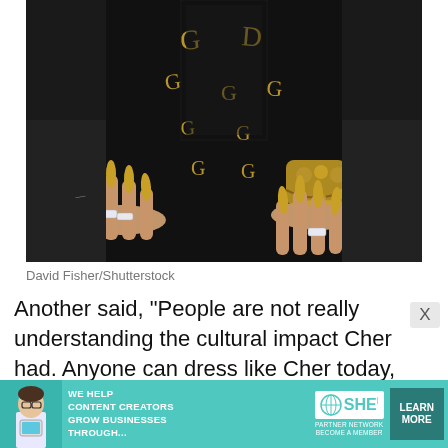[Figure (photo): Close-up photo of a person's torso and hands. They are wearing a black outfit with gold decorative elements/logos. Their hands display long gold stiletto nails, diamond rings on left hand, and gold chain bracelet/jewelry on right wrist. There is a small heart tattoo visible on the right arm.]
David Fisher/Shutterstock
Another said, "People are not really understanding the cultural impact Cher had. Anyone can dress like Cher today, but it's not the same thing as being the first one to break that ground. That was Cher. Also Cher has
[Figure (infographic): Advertisement banner for SHE Media Partner Network. Teal/turquoise background with a woman holding a tablet. Text reads: WE HELP CONTENT CREATORS GROW BUSINESSES THROUGH... SHE PARTNER NETWORK BECOME A MEMBER. Button: LEARN MORE]